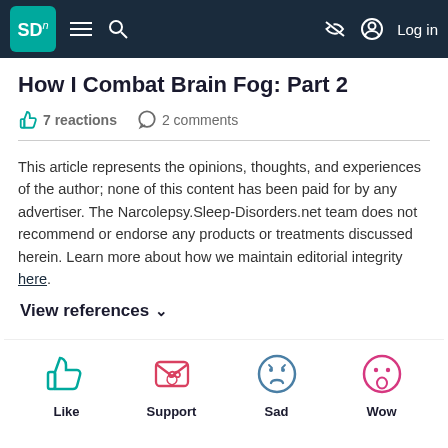SDn [logo] — navigation bar with hamburger menu, search, eye-off icon, log in
How I Combat Brain Fog: Part 2
7 reactions  2 comments
This article represents the opinions, thoughts, and experiences of the author; none of this content has been paid for by any advertiser. The Narcolepsy.Sleep-Disorders.net team does not recommend or endorse any products or treatments discussed herein. Learn more about how we maintain editorial integrity here.
View references ∨
[Figure (infographic): Four emoji-style reaction buttons: Like (teal thumbs up), Support (red envelope with heart), Sad (blue sad face), Wow (pink surprised face)]